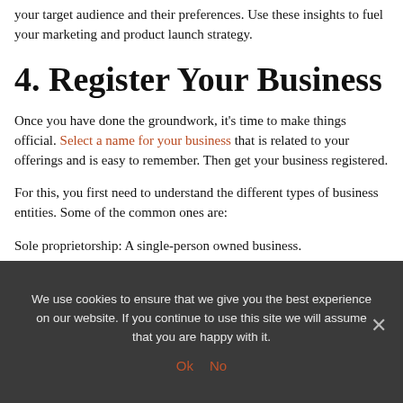your target audience and their preferences. Use these insights to fuel your marketing and product launch strategy.
4. Register Your Business
Once you have done the groundwork, it's time to make things official. Select a name for your business that is related to your offerings and is easy to remember. Then get your business registered.
For this, you first need to understand the different types of business entities. Some of the common ones are:
Sole proprietorship: A single-person owned business.
We use cookies to ensure that we give you the best experience on our website. If you continue to use this site we will assume that you are happy with it.